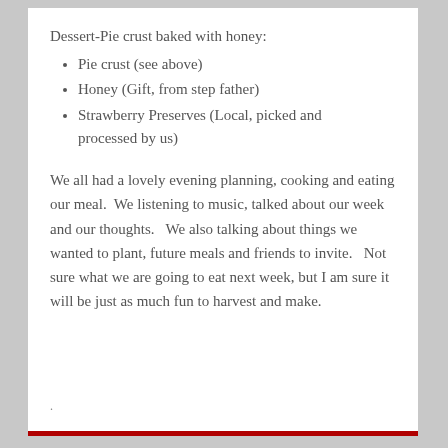Dessert-Pie crust baked with honey:
Pie crust (see above)
Honey (Gift, from step father)
Strawberry Preserves (Local, picked and processed by us)
We all had a lovely evening planning, cooking and eating our meal.  We listening to music, talked about our week and our thoughts.   We also talking about things we wanted to plant, future meals and friends to invite.   Not sure what we are going to eat next week, but I am sure it will be just as much fun to harvest and make.
.